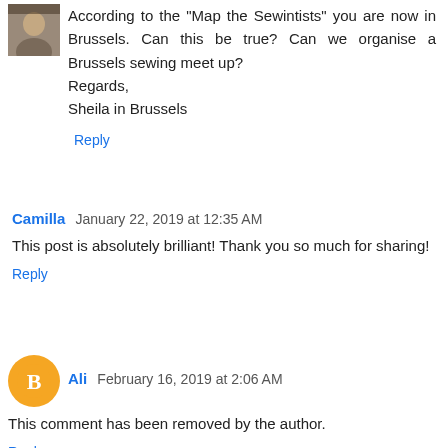According to the "Map the Sewintists" you are now in Brussels. Can this be true? Can we organise a Brussels sewing meet up?
Regards,
Sheila in Brussels
Reply
Camilla  January 22, 2019 at 12:35 AM
This post is absolutely brilliant! Thank you so much for sharing!
Reply
Ali  February 16, 2019 at 2:06 AM
This comment has been removed by the author.
Reply